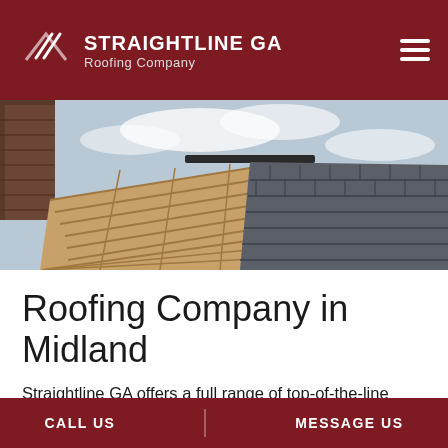STRAIGHTLINE GA Roofing Company
[Figure (photo): A roofing construction scene showing wooden roof trusses and partially laid dark roof tiles, with a chimney visible on the left and hills in the background under a cloudy sky.]
Roofing Company in Midland
Straightline GA offers a full range of top-of-the-line roofing services for residential and commercial properties alike. No matter what roof type you have, we provide comprehensive
CALL US   MESSAGE US